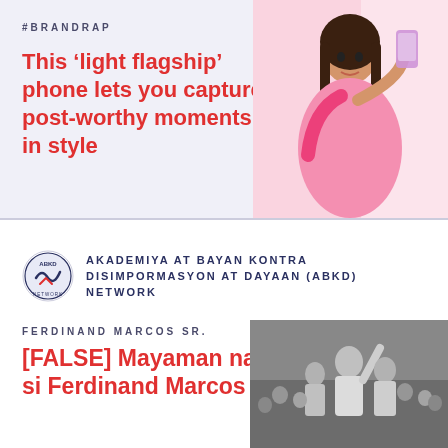#BRANDRAP
This ‘light flagship’ phone lets you capture post-worthy moments in style
[Figure (photo): Woman in pink dress holding a lavender smartphone against a pink background]
[Figure (logo): ABKD Network circular logo with a checkmark and wave graphic]
AKADEMIYA AT BAYAN KONTRA DISIMPORMASYON AT DAYAAN (ABKD) NETWORK
FERDINAND MARCOS SR.
[FALSE] Mayaman na si Ferdinand Marcos
[Figure (photo): Black and white photograph of Ferdinand Marcos Sr. with arm raised, surrounded by crowd]